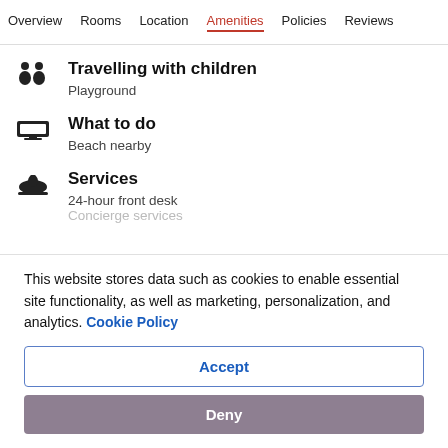Overview  Rooms  Location  Amenities  Policies  Reviews
Travelling with children
Playground
What to do
Beach nearby
Services
24-hour front desk
Concierge services
This website stores data such as cookies to enable essential site functionality, as well as marketing, personalization, and analytics. Cookie Policy
Accept
Deny